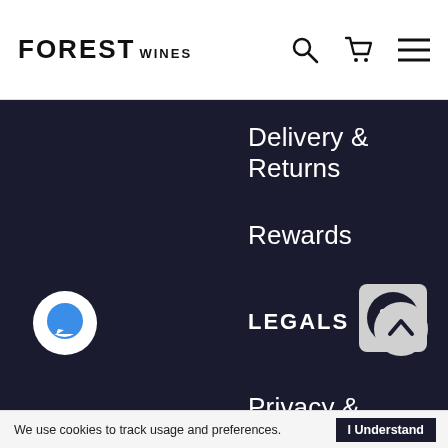FOREST WINES
Delivery & Returns
Rewards
LEGALS
Privacy & Cookies
Terms & Conditions
We use cookies to track usage and preferences. I Understand